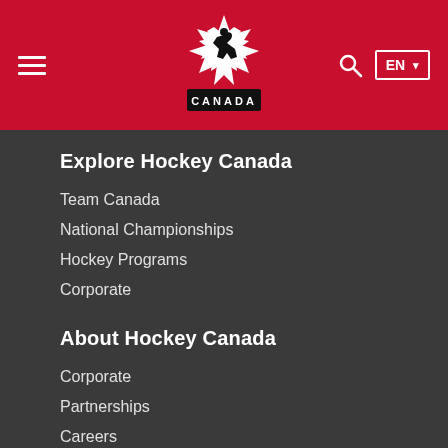[Figure (logo): Hockey Canada logo — red maple leaf with hockey player silhouette, CANADA text below]
Explore Hockey Canada
Team Canada
National Championships
Hockey Programs
Corporate
About Hockey Canada
Corporate
Partnerships
Careers
Contact
Members
Alumni
Privacy Policy
Copyright & Legal Disclaimer